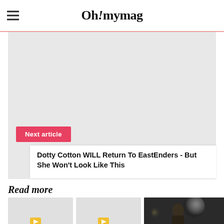Oh!mymag
[Figure (photo): Gray placeholder image for next article card]
Next article
Dotty Cotton WILL Return To EastEnders - But She Won't Look Like This
Read more
[Figure (photo): Gray placeholder thumbnail 1 with yellow play button]
[Figure (photo): Gray placeholder thumbnail 2 with yellow play button]
[Figure (photo): Photo thumbnail showing person with bokeh lights background]